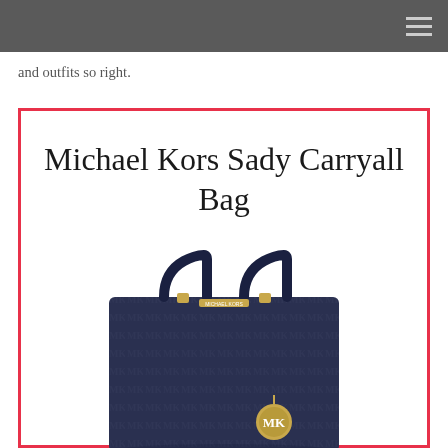and outfits so right.
Michael Kors Sady Carryall Bag
[Figure (photo): Michael Kors Sady Carryall Bag — navy blue monogram tote bag with dual handles, gold hardware including MK logo charm pendant, photographed on white background.]